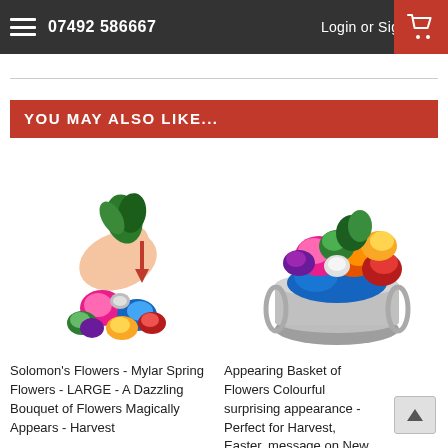07492 586667   Login or Sign Up
YOU MAY ALSO LIKE...
[Figure (photo): Hand holding colorful Mylar foil spring flower bouquet appearing from a ball]
Solomon's Flowers - Mylar Spring Flowers - LARGE - A Dazzling Bouquet of Flowers Magically Appears - Harvest
[Figure (photo): Colorful foil bouquet of flowers in a silver basket — Appearing Basket of Flowers]
Appearing Basket of Flowers Colourful surprising appearance - Perfect for Harvest, Easter, message on New Life